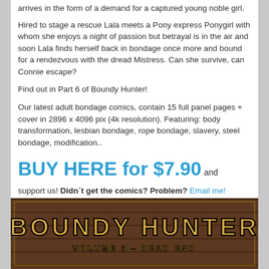arrives in the form of a demand for a captured young noble girl.
Hired to stage a rescue Lala meets a Pony express Ponygirl with whom she enjoys a night of passion but betrayal is in the air and soon Lala finds herself back in bondage once more and bound for a rendezvous with the dread Mistress. Can she survive, can Connie escape?
Find out in Part 6 of Boundy Hunter!
Our latest adult bondage comics, contain 15 full panel pages + cover in 2896 x 4096 pix (4k resolution). Featuring: body transformation, lesbian bondage, rope bondage, slavery, steel bondage, modification..
BUY HERE for $7.90 and support us! Didn´t get the comics? Problem? Email me!
Bounty Hunter Lala Chapman captured in rubber latex steel bondage coffin. Nigerian queen Terri captured and transformed into obedient ponygirl.
[Figure (illustration): Cover image of Boundy Hunter Volume 6 - Dead End, showing stylized western title text on a wooden plank background]